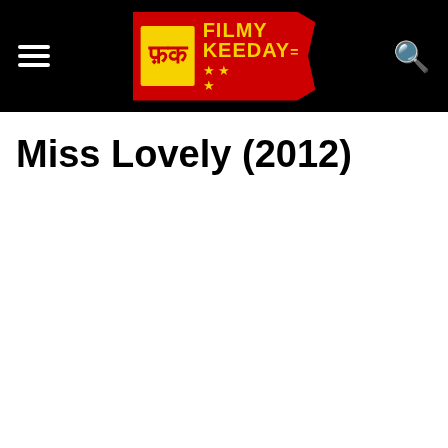Filmy Keeday — Miss Lovely (2012)
Miss Lovely (2012)